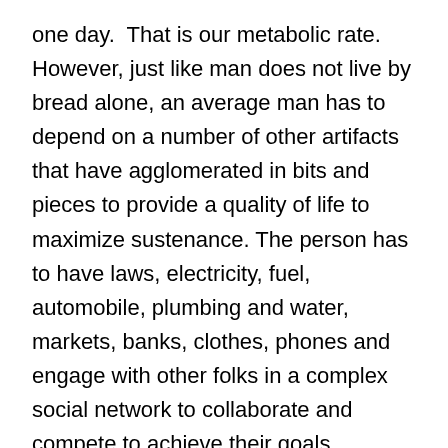one day.  That is our metabolic rate. However, just like man does not live by bread alone, an average man has to depend on a number of other artifacts that have agglomerated in bits and pieces to provide a quality of life to maximize sustenance. The person has to have laws, electricity, fuel, automobile, plumbing and water, markets, banks, clothes, phones and engage with other folks in a complex social network to collaborate and compete to achieve their goals. Geoffrey West says that the average person requires almost 11000W or the equivalent of almost 125 90W light bulbs. To put things in greater perspective, the social metabolic rate of 11,000W is almost equivalent to a dozen elephants.  (An elephant requires 10X more energy than humans even though they might be 60X the size of the physical human being). Thus, a major portion of our energy is diverted to maintain the